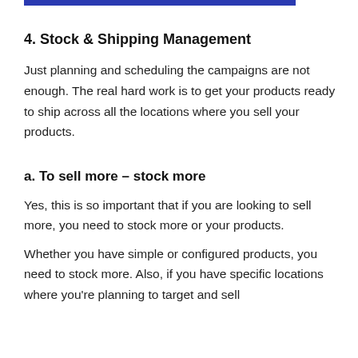4. Stock & Shipping Management
Just planning and scheduling the campaigns are not enough. The real hard work is to get your products ready to ship across all the locations where you sell your products.
a. To sell more – stock more
Yes, this is so important that if you are looking to sell more, you need to stock more or your products.
Whether you have simple or configured products, you need to stock more. Also, if you have specific locations where you're planning to target and sell